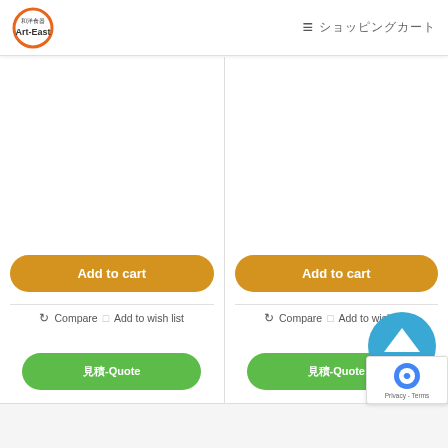[Figure (logo): Art-East logo — circular orange border with Chinese characters and 'Art-East' text]
≡ ショッピングカート
[Figure (screenshot): E-commerce product listing page with two columns, each containing an Add to cart button, Compare / Add to wish list links, and a Quote button. A scroll-to-top blue circle button and a reCAPTCHA badge are visible in the bottom-right.]